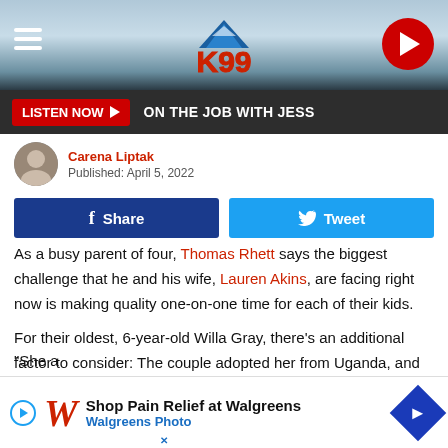[Figure (screenshot): K99 radio station website header with mountain/sky background, menu hamburger icon on left, K99 logo in center, red play button on right]
[Figure (infographic): Dark grey bar with red LISTEN NOW button and text ON THE JOB WITH JESS]
Carena Liptak
Published: April 5, 2022
[Figure (infographic): Facebook Share button (dark blue) and Twitter Tweet button (light blue)]
As a busy parent of four, Thomas Rhett says the biggest challenge that he and his wife, Lauren Akins, are facing right now is making quality one-on-one time for each of their kids.
For their oldest, 6-year-old Willa Gray, there's an additional factor to consider: The couple adopted her from Uganda, and are starting to field questions from their daughter about how she became a member of their family.
"She a
[Figure (infographic): Walgreens ad banner: Shop Pain Relief at Walgreens, Walgreens Photo, with blue diamond arrow icon]